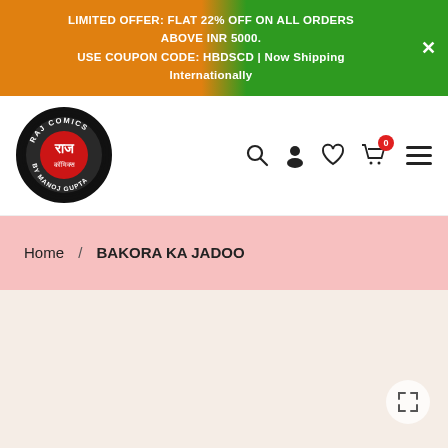LIMITED OFFER: FLAT 22% OFF ON ALL ORDERS ABOVE INR 5000. USE COUPON CODE: HBDSCD | Now Shipping Internationally
[Figure (logo): Raj Comics by Manoj Gupta circular logo — black circle with white and red text, Hindi text in center]
Home / BAKORA KA JADOO